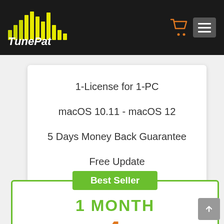TunePat
1-License for 1-PC
macOS 10.11 - macOS 12
5 Days Money Back Guarantee
Free Update
24/7 Support
Best Seller
1 MONTH
14.95